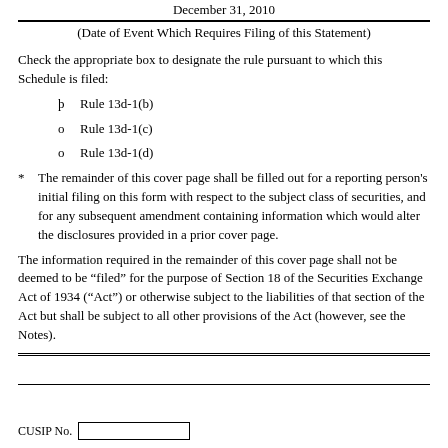December 31, 2010
(Date of Event Which Requires Filing of this Statement)
Check the appropriate box to designate the rule pursuant to which this Schedule is filed:
þ  Rule 13d-1(b)
o  Rule 13d-1(c)
o  Rule 13d-1(d)
*  The remainder of this cover page shall be filled out for a reporting person's initial filing on this form with respect to the subject class of securities, and for any subsequent amendment containing information which would alter the disclosures provided in a prior cover page.
The information required in the remainder of this cover page shall not be deemed to be “filed” for the purpose of Section 18 of the Securities Exchange Act of 1934 (“Act”) or otherwise subject to the liabilities of that section of the Act but shall be subject to all other provisions of the Act (however, see the Notes).
CUSIP No.